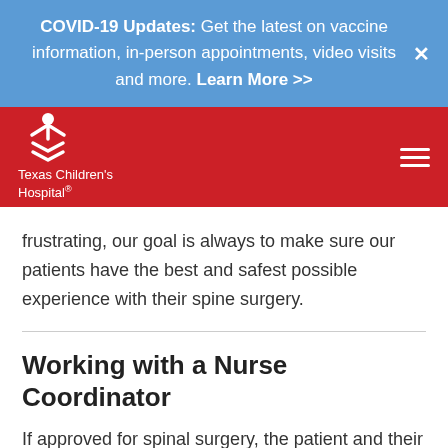COVID-19 Updates: Get the latest on vaccine information, in-person appointments, video visits and more. Learn More >>
[Figure (logo): Texas Children's Hospital logo — white icon of child with arms up and chevrons below, with text 'Texas Children's Hospital']
frustrating, our goal is always to make sure our patients have the best and safest possible experience with their spine surgery.
Working with a Nurse Coordinator
If approved for spinal surgery, the patient and their